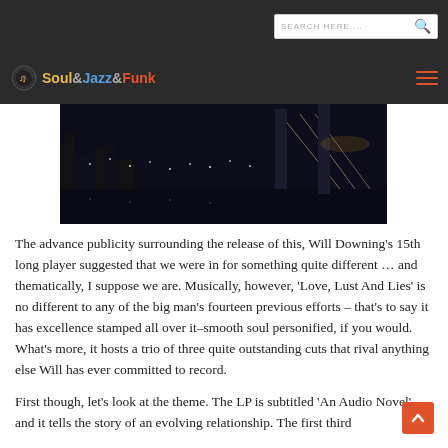SEARCH HERE....
Soul&Jazz&Funk
[Figure (photo): Night cityscape with city lights and a bridge, dark blue/black tones]
The advance publicity surrounding the release of this, Will Downing’s 15th long player suggested that we were in for something quite different … and thematically, I suppose we are. Musically, however, ‘Love, Lust And Lies’ is no different to any of the big man’s fourteen previous efforts – that’s to say it has excellence stamped all over it–smooth soul personified, if you would. What’s more, it hosts a trio of three quite outstanding cuts that rival anything else Will has ever committed to record.
First though, let’s look at the theme. The LP is subtitled ‘An Audio Novel’ and it tells the story of an evolving relationship. The first third